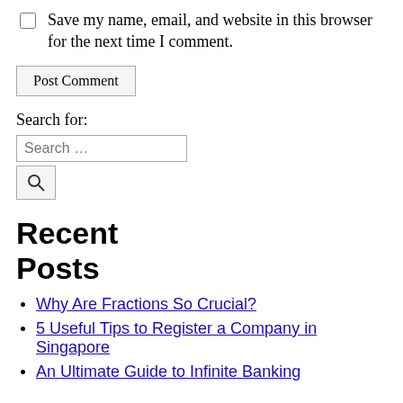Save my name, email, and website in this browser for the next time I comment.
Post Comment
Search for:
Recent Posts
Why Are Fractions So Crucial?
5 Useful Tips to Register a Company in Singapore
An Ultimate Guide to Infinite Banking